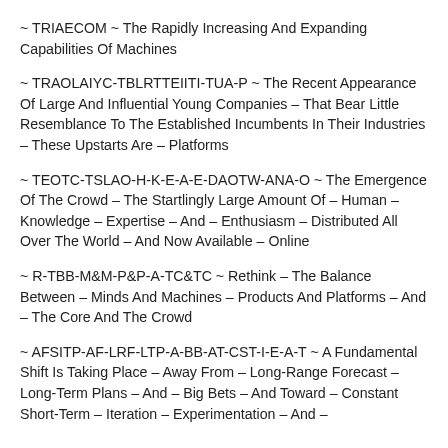~ TRIAECOM ~ The Rapidly Increasing And Expanding Capabilities Of Machines
~ TRAOLAIYC-TBLRTTEIITI-TUA-P ~ The Recent Appearance Of Large And Influential Young Companies – That Bear Little Resemblance To The Established Incumbents In Their Industries – These Upstarts Are – Platforms
~ TEOTC-TSLAO-H-K-E-A-E-DAOTW-ANA-O ~ The Emergence Of The Crowd – The Startlingly Large Amount Of – Human – Knowledge – Expertise – And – Enthusiasm – Distributed All Over The World – And Now Available – Online
~ R-TBB-M&M-P&P-A-TC&TC ~ Rethink – The Balance Between – Minds And Machines – Products And Platforms – And – The Core And The Crowd
~ AFSITP-AF-LRF-LTP-A-BB-AT-CST-I-E-A-T ~ A Fundamental Shift Is Taking Place – Away From – Long-Range Forecast – Long-Term Plans – And – Big Bets – And Toward – Constant Short-Term – Iteration – Experimentation – And –